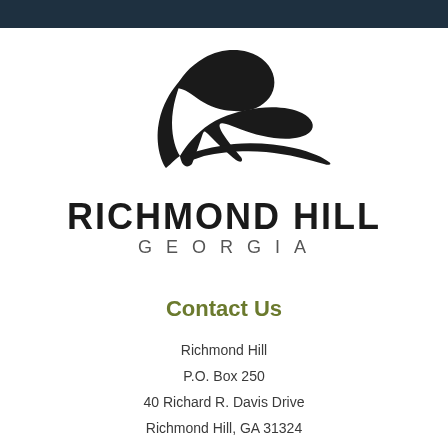[Figure (logo): Richmond Hill Georgia city logo with stylized cursive R above bold RICHMOND HILL text and spaced GEORGIA below]
Contact Us
Richmond Hill
P.O. Box 250
40 Richard R. Davis Drive
Richmond Hill, GA 31324
Phone: 912-756-3345